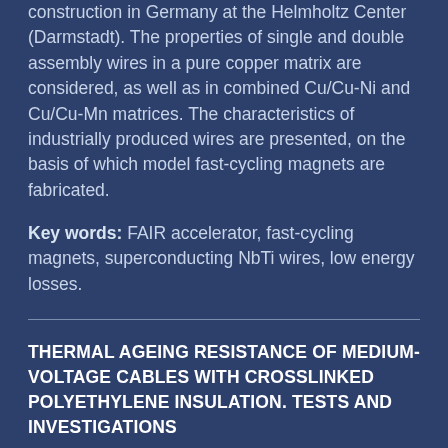construction in Germany at the Helmholtz Center (Darmstadt). The properties of single and double assembly wires in a pure copper matrix are considered, as well as in combined Cu/Cu-Ni and Cu/Cu-Mn matrices. The characteristics of industrially produced wires are presented, on the basis of which model fast-cycling magnets are fabricated.
Key words: FAIR accelerator, fast-cycling magnets, superconducting NbTi wires, low energy losses.
THERMAL AGEING RESISTANCE OF MEDIUM-VOLTAGE CABLES WITH CROSSLINKED POLYETHYLENE INSULATION. TESTS AND INVESTIGATIONS